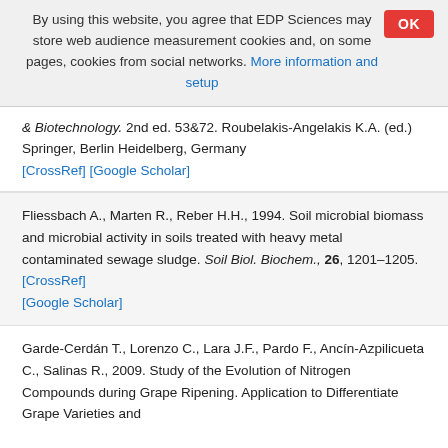By using this website, you agree that EDP Sciences may store web audience measurement cookies and, on some pages, cookies from social networks. More information and setup
& Biotechnology. 2nd ed. 53&72. Roubelakis-Angelakis K.A. (ed.) Springer, Berlin Heidelberg, Germany [CrossRef] [Google Scholar]
Fliessbach A., Marten R., Reber H.H., 1994. Soil microbial biomass and microbial activity in soils treated with heavy metal contaminated sewage sludge. Soil Biol. Biochem., 26, 1201–1205. [CrossRef] [Google Scholar]
Garde-Cerdán T., Lorenzo C., Lara J.F., Pardo F., Ancín-Azpilicueta C., Salinas R., 2009. Study of the Evolution of Nitrogen Compounds during Grape Ripening. Application to Differentiate Grape Varieties and